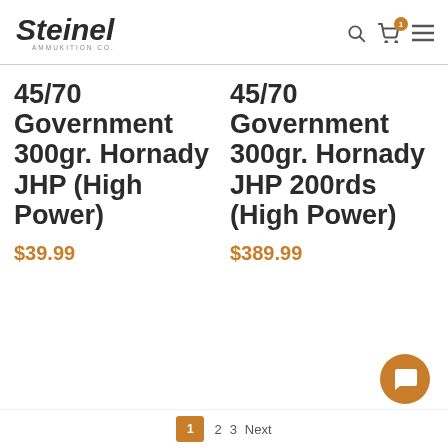[Figure (logo): Steinel Ammukition Co. logo in bold italic font]
45/70 Government 300gr. Hornady JHP (High Power)
$39.99
45/70 Government 300gr. Hornady JHP 200rds (High Power)
$389.99
1  2  3  Next